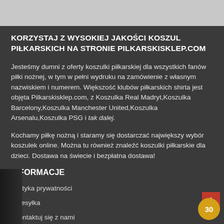KORZYSTAJ Z WYSOKIEJ JAKOŚCI KOSZUL PIŁKARSKICH NA STRONIE PILKARSKISKLEP.COM
Jesteśmy dumni z oferty koszulki piłkarskiej dla wszystkich fanów piłki nożnej, w tym w pełni wydruku na zamówienie z własnym nazwiskiem i numerem. Większość klubów piłkarskich shirta jest objęta Pilkarskisklep.com, z Koszulka Real Madryt,Koszulka Barcelony,Koszulka Manchester United,Koszulka Arsenalu,Koszulka PSG i tak dalej.
Kochamy piłkę nożną i staramy się dostarczać największy wybór koszulek online. Można tu również znaleźć koszulki piłkarskie dla dzieci. Dostawa na świecie i bezpłatna dostawa!
INFORMACJE
Polityka prywatności
Przesyłka
Skontaktuj się z nami
Tabela rozmiarów
Zwroty